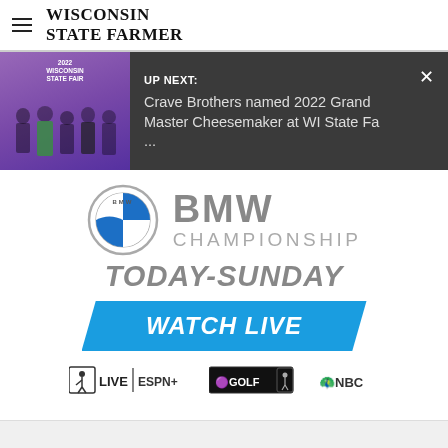WISCONSIN STATE FARMER
[Figure (screenshot): Up Next banner showing thumbnail of Wisconsin State Fair event with people, and text 'UP NEXT: Crave Brothers named 2022 Grand Master Cheesemaker at WI State Fa ...' on dark background with close button]
[Figure (advertisement): BMW Championship advertisement with BMW logo, text 'BMW CHAMPIONSHIP', 'TODAY-SUNDAY', 'WATCH LIVE' button in blue parallelogram, and network logos: PGA Tour Live / ESPN+, Golf Channel, NBC]